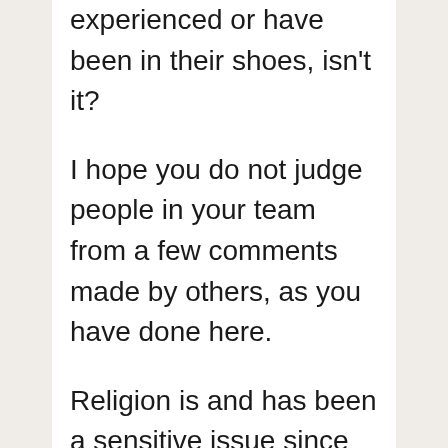experienced or have been in their shoes, isn't it?
I hope you do not judge people in your team from a few comments made by others, as you have done here.
Religion is and has been a sensitive issue since almost the beginning of time, and unfortunately has to go beyond